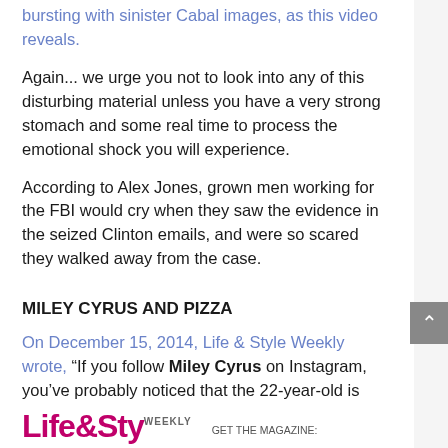bursting with sinister Cabal images, as this video reveals.
Again... we urge you not to look into any of this disturbing material unless you have a very strong stomach and some real time to process the emotional shock you will experience.
According to Alex Jones, grown men working for the FBI would cry when they saw the evidence in the seized Clinton emails, and were so scared they walked away from the case.
MILEY CYRUS AND PIZZA
On December 15, 2014, Life & Style Weekly wrote, “If you follow Miley Cyrus on Instagram, you’ve probably noticed that the 22-year-old is weirdly obsessed with pizza
“Like, almost every other post is pizza-related.”
[Figure (logo): Life & Style Weekly magazine logo in pink/magenta bold text]
GET THE MAGAZINE: